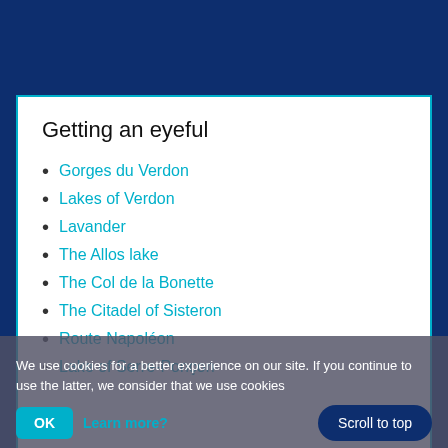Getting an eyeful
Gorges du Verdon
Lakes of Verdon
Lavander
The Allos lake
The Col de la Bonette
The Citadel of Sisteron
Route Napoléon
Lake of Serre-Ponçon
Vélodrome d'Esclangon,
Forcalquier, City of the Stars
Entrevaux, a Vauban Village
The Espace Lumière
We use cookies for a better experience on our site. If you continue to use the latter, we consider that we use cookies